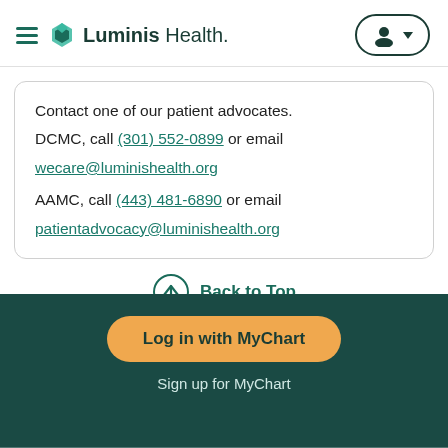Luminis Health
Contact one of our patient advocates. DCMC, call (301) 552-0899 or email wecare@luminishealth.org AAMC, call (443) 481-6890 or email patientadvocacy@luminishealth.org
Back to Top
Log in with MyChart
Sign up for MyChart